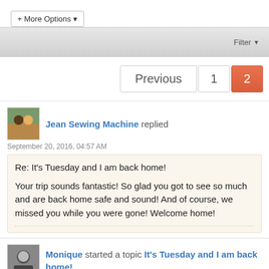+ More Options ▾
Filter ▼
Previous  1  2
Jean Sewing Machine replied
September 20, 2016, 04:57 AM
Re: It's Tuesday and I am back home!

Your trip sounds fantastic! So glad you got to see so much and are back home safe and sound! And of course, we missed you while you were gone! Welcome home!
Monique started a topic It's Tuesday and I am back home!